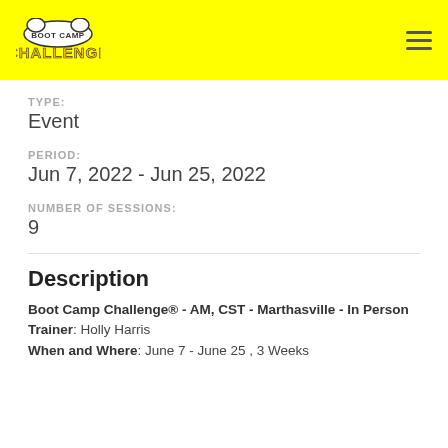[Figure (logo): Boot Camp Challenge logo with yellow background and hamburger menu icon]
TYPE:
Event
PERIOD:
Jun 7, 2022 - Jun 25, 2022
NUMBER OF SESSIONS:
9
Description
Boot Camp Challenge® - AM, CST - Marthasville - In Person
Trainer: Holly Harris
When and Where: June 7 - June 25 , 3 Weeks